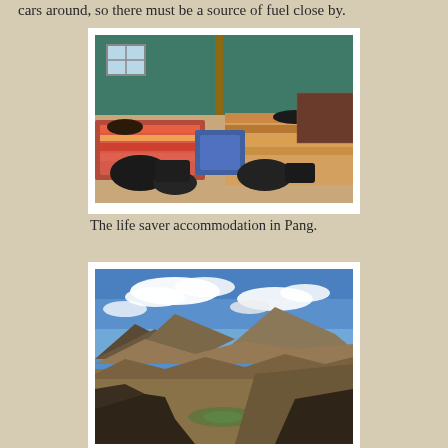cars around, so there must be a source of fuel close by.
[Figure (photo): Interior of a basic accommodation room in Pang, showing people sleeping on mattresses on the floor, luggage scattered around, green-painted walls, a wooden pole in the center, and colorful bedding.]
The life saver accommodation in Pang.
[Figure (photo): Panoramic mountain landscape with a valley, brown rocky mountains, blue sky with white clouds, and a hint of green vegetation in the valley below.]